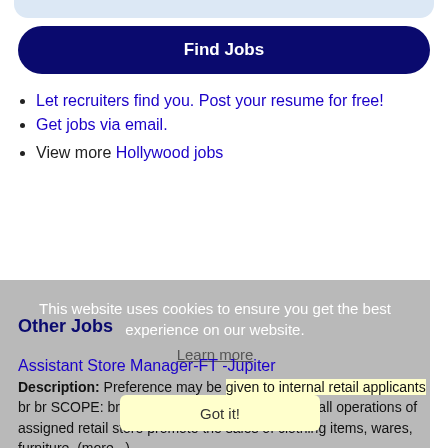[Figure (other): Light blue rounded bar at top of page]
Find Jobs
Let recruiters find you. Post your resume for free!
Get jobs via email.
View more Hollywood jobs
This website uses cookies to ensure you get the best experience on our website.
Learn more
Other Jobs
Assistant Store Manager-FT -Jupiter
Description: Preference may be given to internal retail applicants br br SCOPE: br br Plan, organize, and oversee all operations of assigned retail store promote the sales of clothing items, wares, furniture, (more...)